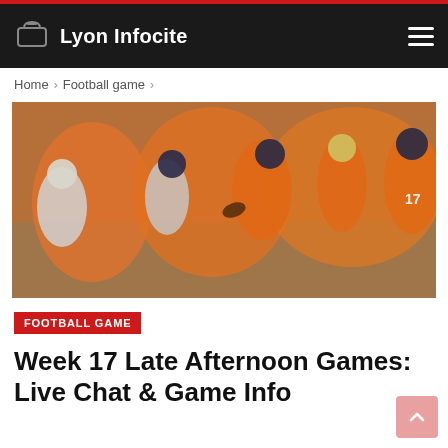Lyon Infocite
Home > Football game >
[Figure (photo): Football players from the Denver Broncos in orange uniforms and Los Angeles Chargers in white uniforms during an NFL game, players running with the ball]
FOOTBALL GAME
Week 17 Late Afternoon Games: Live Chat & Game Info